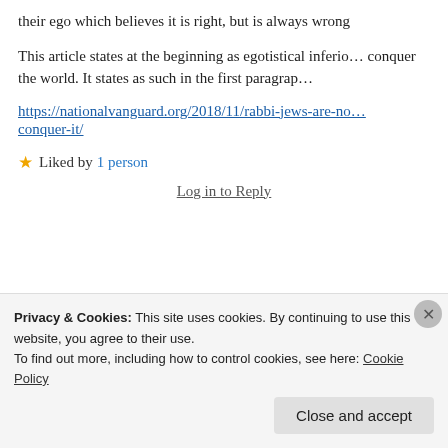their ego which believes it is right, but is always wrong
This article states at the beginning as egotistical inferio… conquer the world. It states as such in the first paragrap…
https://nationalvanguard.org/2018/11/rabbi-jews-are-no… conquer-it/
★ Liked by 1 person
Log in to Reply
Crandew says: 2021-12-10 at 12:17 pm
Privacy & Cookies: This site uses cookies. By continuing to use this website, you agree to their use.
To find out more, including how to control cookies, see here: Cookie Policy